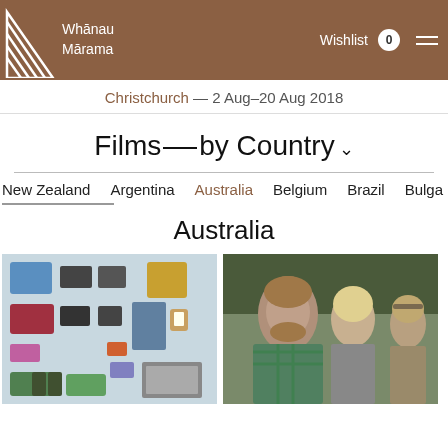Whānau Mārama — Wishlist 0
Christchurch — 2 Aug–20 Aug 2018
Films——by Country
New Zealand
Argentina
Australia
Belgium
Brazil
Bulga
Australia
[Figure (photo): Flat lay of assorted clothing and personal items arranged on a white surface]
[Figure (photo): Three people outdoors in a forest setting — a bearded man in a plaid shirt, a blonde woman, and a young boy in a knitted sweater]